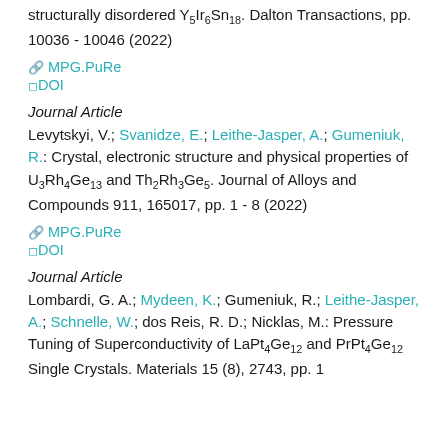structurally disordered Y5Ir6Sn18. Dalton Transactions, pp. 10036 - 10046 (2022)
MPG.PuRe
DOI
Journal Article
Levytskyi, V.; Svanidze, E.; Leithe-Jasper, A.; Gumeniuk, R.: Crystal, electronic structure and physical properties of U3Rh4Ge13 and Th2Rh3Ge5. Journal of Alloys and Compounds 911, 165017, pp. 1 - 8 (2022)
MPG.PuRe
DOI
Journal Article
Lombardi, G. A.; Mydeen, K.; Gumeniuk, R.; Leithe-Jasper, A.; Schnelle, W.; dos Reis, R. D.; Nicklas, M.: Pressure Tuning of Superconductivity of LaPt4Ge12 and PrPt4Ge12 Single Crystals. Materials 15 (8), 2743, pp. 1